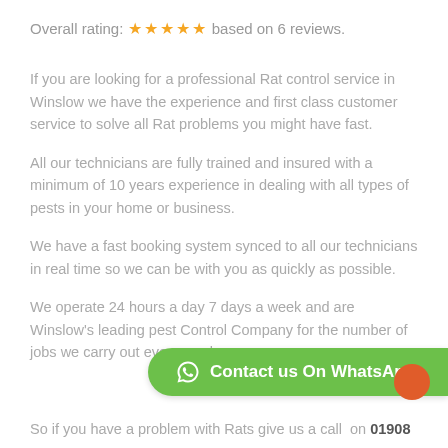Overall rating: ★★★★★ based on 6 reviews.
If you are looking for a professional Rat control service in Winslow we have the experience and first class customer service to solve all Rat problems you might have fast.
All our technicians are fully trained and insured with a minimum of 10 years experience in dealing with all types of pests in your home or business.
We have a fast booking system synced to all our technicians in real time so we can be with you as quickly as possible.
We operate 24 hours a day 7 days a week and are Winslow's leading pest Control Company for the number of jobs we carry out every week.
[Figure (other): Green WhatsApp contact button with WhatsApp icon and text 'Contact us On WhatsApp']
So if you have a problem with Rats give us a call  on 01908